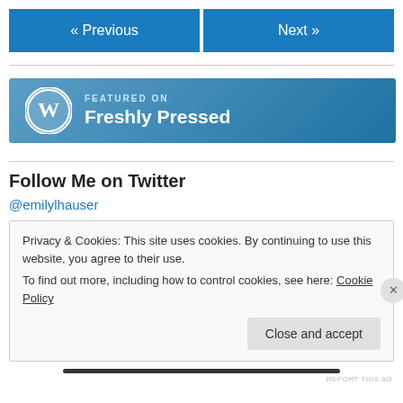« Previous
Next »
[Figure (logo): Featured on Freshly Pressed WordPress badge with WordPress logo circle and text 'FEATURED ON Freshly Pressed' on blue gradient background]
Follow Me on Twitter
@emilylhauser
Privacy & Cookies: This site uses cookies. By continuing to use this website, you agree to their use. To find out more, including how to control cookies, see here: Cookie Policy
Close and accept